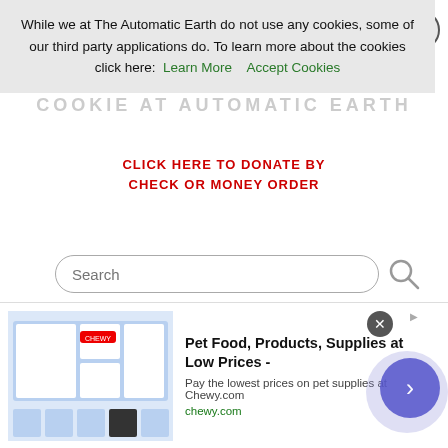While we at The Automatic Earth do not use any cookies, some of our third party applications do. To learn more about the cookies click here: Learn More   Accept Cookies
CLICK HERE TO DONATE BY CHECK OR MONEY ORDER
[Figure (screenshot): Search input field with magnifying glass icon]
[Figure (screenshot): Advertisement banner: Pet Food, Products, Supplies at Low Prices - chewy.com. Pay the lowest prices on pet supplies at Chewy.com]